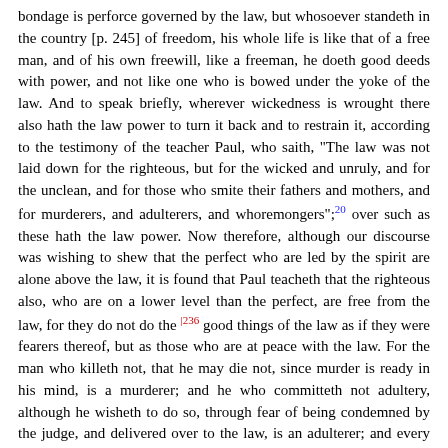bondage is perforce governed by the law, but whosoever standeth in the country [p. 245] of freedom, his whole life is like that of a free man, and of his own freewill, like a freeman, he doeth good deeds with power, and not like one who is bowed under the yoke of the law. And to speak briefly, wherever wickedness is wrought there also hath the law power to turn it back and to restrain it, according to the testimony of the teacher Paul, who saith, "The law was not laid down for the righteous, but for the wicked and unruly, and for the unclean, and for those who smite their fathers and mothers, and for murderers, and adulterers, and whoremongers";20 over such as these hath the law power. Now therefore, although our discourse was wishing to shew that the perfect who are led by the spirit are alone above the law, it is found that Paul teacheth that the righteous also, who are on a lower level than the perfect, are free from the law, for they do not do the |236 good things of the law as if they were fearers thereof, but as those who are at peace with the law. For the man who killeth not, that he may die not, since murder is ready in his mind, is a murderer; and he who committeth not adultery, although he wisheth to do so, through fear of being condemned by the judge, and delivered over to the law, is an adulterer; and every one who deviseth harm, but who by reason of the fear of the punishments which are commanded by the law is held back, and doeth it not, is nevertheless, according to his own will, the worker of all wickedness. Now as for the righteous who are kept back from doing wickedness, it is not because they are